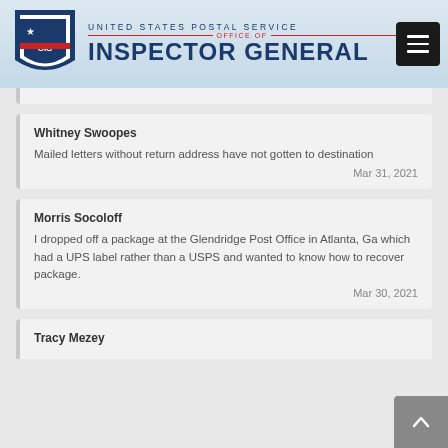UNITED STATES POSTAL SERVICE OFFICE OF INSPECTOR GENERAL
Whitney Swoopes
Mailed letters without return address have not gotten to destination
Mar 31, 2021
Morris Socoloff
I dropped off a package at the Glendridge Post Office in Atlanta, Ga which had a UPS label rather than a USPS and wanted to know how to recover package.
Mar 30, 2021
Tracy Mezey